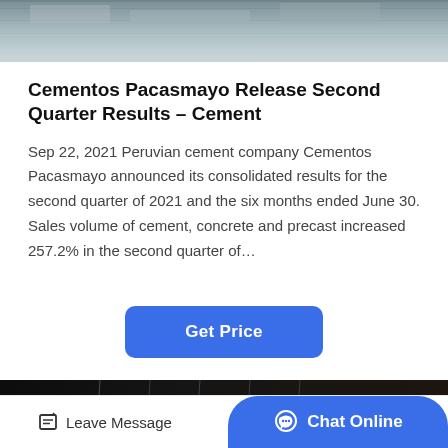[Figure (photo): Top partial image showing a textured grey/stone surface, likely a construction or quarry material.]
Cementos Pacasmayo Release Second Quarter Results – Cement
Sep 22, 2021 Peruvian cement company Cementos Pacasmayo announced its consolidated results for the second quarter of 2021 and the six months ended June 30. Sales volume of cement, concrete and precast increased 257.2% in the second quarter of…
[Figure (photo): Bottom image showing heavy machinery (excavator bucket) working at night or in dark conditions at a construction or mining site.]
Leave Message   Chat Online